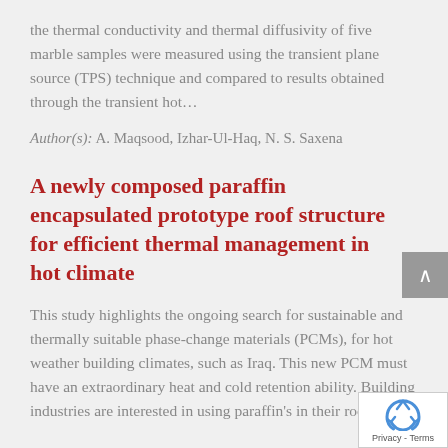the thermal conductivity and thermal diffusivity of five marble samples were measured using the transient plane source (TPS) technique and compared to results obtained through the transient hot…
Author(s): A. Maqsood, Izhar-Ul-Haq, N. S. Saxena
A newly composed paraffin encapsulated prototype roof structure for efficient thermal management in hot climate
This study highlights the ongoing search for sustainable and thermally suitable phase-change materials (PCMs), for hot weather building climates, such as Iraq. This new PCM must have an extraordinary heat and cold retention ability. Building industries are interested in using paraffin's in their roofing…